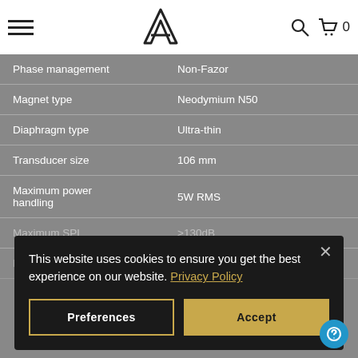Navigation bar with hamburger menu, logo, search icon, and cart (0)
| Specification | Value |
| --- | --- |
| Phase management | Non-Fazor |
| Magnet type | Neodymium N50 |
| Diaphragm type | Ultra-thin |
| Transducer size | 106 mm |
| Maximum power handling | 5W RMS |
| Maximum SPL | >130dB |
| Minimum power |  |
This website uses cookies to ensure you get the best experience on our website. Privacy Policy
Preferences | Accept